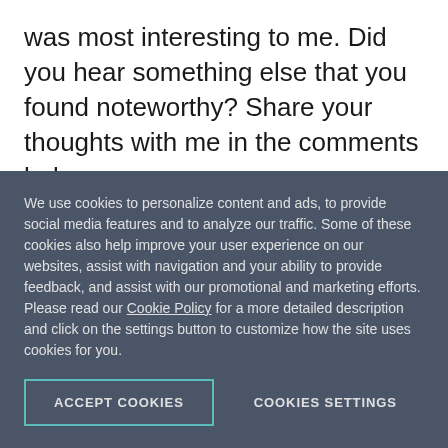was most interesting to me. Did you hear something else that you found noteworthy? Share your thoughts with me in the comments below.
Microsoft Bot Framework v4
Launched for public preview at Build in May of this year, Microsoft announced that the Microsoft Bot Framework v4 SDK is now
We use cookies to personalize content and ads, to provide social media features and to analyze our traffic. Some of these cookies also help improve your user experience on our websites, assist with navigation and your ability to provide feedback, and assist with our promotional and marketing efforts. Please read our Cookie Policy for a more detailed description and click on the settings button to customize how the site uses cookies for you.
ACCEPT COOKIES
COOKIES SETTINGS